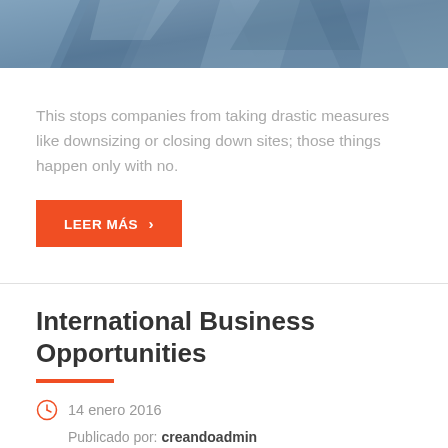[Figure (photo): Top portion of a decorative geometric/abstract blue-grey photo header image, partially cropped]
This stops companies from taking drastic measures like downsizing or closing down sites; those things happen only with no.
LEER MÁS ›
International Business Opportunities
14 enero 2016
Publicado por: creandoadmin
Categoría: